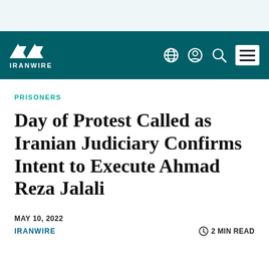IRANWIRE
PRISONERS
Day of Protest Called as Iranian Judiciary Confirms Intent to Execute Ahmad Reza Jalali
MAY 10, 2022
IRANWIRE
2 MIN READ